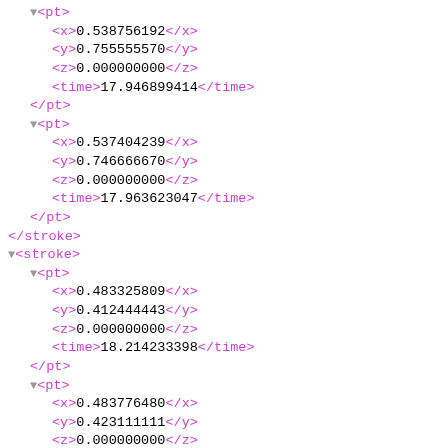XML tree view of stroke/pt elements with x, y, z, time coordinates
▼<pt>
  <x>0.538756192</x>
  <y>0.755555570</y>
  <z>0.000000000</z>
  <time>17.946899414</time>
</pt>
▼<pt>
  <x>0.537404239</x>
  <y>0.746666670</y>
  <z>0.000000000</z>
  <time>17.963623047</time>
</pt>
</stroke>
▼<stroke>
  ▼<pt>
    <x>0.483325809</x>
    <y>0.412444443</y>
    <z>0.000000000</z>
    <time>18.214233398</time>
  </pt>
  ▼<pt>
    <x>0.483776480</x>
    <y>0.423111111</y>
    <z>0.000000000</z>
    <time>18.330810547</time>
  </pt>
  ▼<pt>
    <x>0.483776480</x>
    <y>0.444444448</y>
    <z>0.000000000</z>